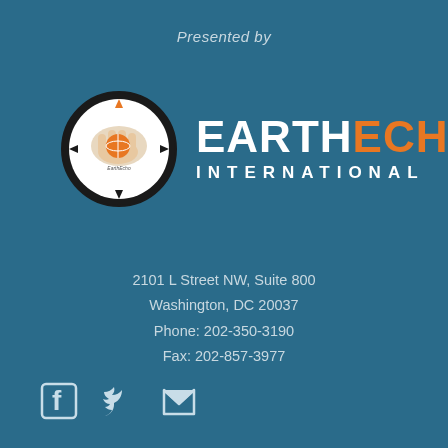Presented by
[Figure (logo): EarthEcho International logo with circular emblem showing a hand holding a globe with compass directions, and 'EARTH' in white bold text and 'ECHO' in orange bold text, with 'INTERNATIONAL' in white spaced capitals below]
2101 L Street NW, Suite 800
Washington, DC 20037
Phone: 202-350-3190
Fax: 202-857-3977
[Figure (other): Social media icons: Facebook, Twitter, and email icons in white/light blue on dark teal background]